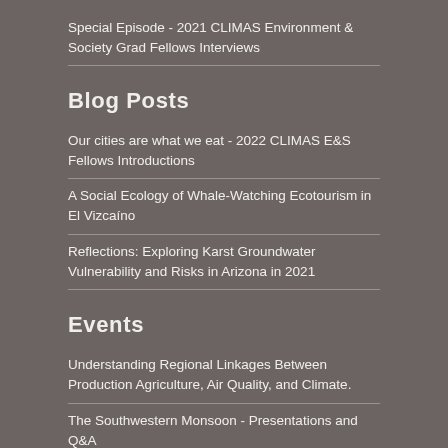Special Episode - 2021 CLIMAS Environment & Society Grad Fellows Interviews
Blog Posts
Our cities are what we eat - 2022 CLIMAS E&S Fellows Introductions
A Social Ecology of Whale-Watching Ecotourism in El Vizcaíno
Reflections: Exploring Karst Groundwater Vulnerability and Risks in Arizona in 2021
Events
Understanding Regional Linkages Between Production Agriculture, Air Quality, and Climate.
The Southwestern Monsoon - Presentations and Q&A
Evaluating Environmental Water Acquisitions & Regional Climate Services